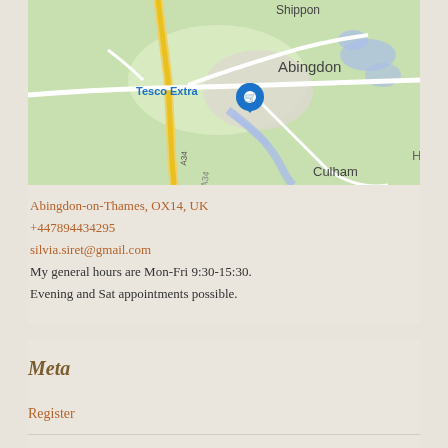[Figure (map): Google Maps view showing Abingdon-on-Thames area, UK. Shows Shippon, Tesco Extra marker, Abingdon, A34 road, and Culham. Blue map pin visible near Tesco Extra.]
Abingdon-on-Thames, OX14, UK
+447894434295
silvia.siret@gmail.com
My general hours are Mon-Fri 9:30-15:30.
Evening and Sat appointments possible.
Meta
Register
Log in
Entries feed
Comments feed